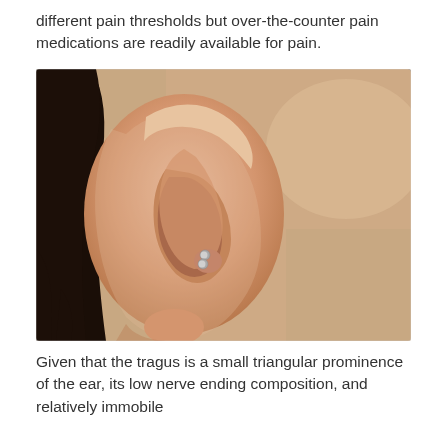different pain thresholds but over-the-counter pain medications are readily available for pain.
[Figure (photo): Close-up photograph of a human ear showing a tragus piercing with two small silver ball-end jewelry pieces on the tragus area. The ear belongs to a person with dark hair visible in the background.]
Given that the tragus is a small triangular prominence of the ear, its low nerve ending composition, and relatively immobile